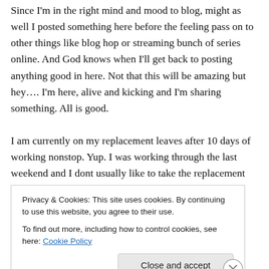Since I'm in the right mind and mood to blog, might as well I posted something here before the feeling pass on to other things like blog hop or streaming bunch of series online. And God knows when I'll get back to posting anything good in here. Not that this will be amazing but hey…. I'm here, alive and kicking and I'm sharing something. All is good.

I am currently on my replacement leaves after 10 days of working nonstop. Yup. I was working through the last weekend and I dont usually like to take the replacement leaves immediately. I like to keep it for longer holidays
Privacy & Cookies: This site uses cookies. By continuing to use this website, you agree to their use.
To find out more, including how to control cookies, see here: Cookie Policy
Close and accept
Advertisements